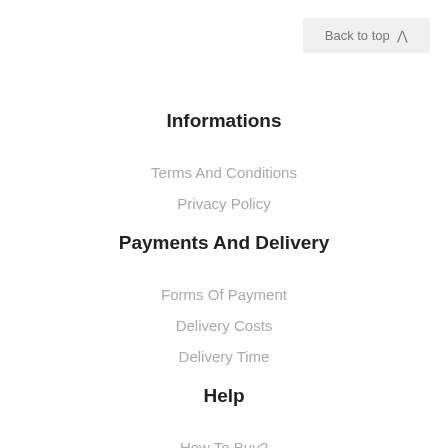Back to top ∧
Informations
Terms And Conditions
Privacy Policy
Payments And Delivery
Forms Of Payment
Delivery Costs
Delivery Time
Help
How To Buy?